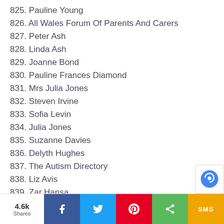825. Pauline Young
826. All Wales Forum Of Parents And Carers
827. Peter Ash
828. Linda Ash
829. Joanne Bond
830. Pauline Frances Diamond
831. Mrs Julia Jones
832. Steven Irvine
833. Sofia Levin
834. Julia Jones
835. Suzanne Davies
836. Delyth Hughes
837. The Autism Directory
838. Liz Avis
839. Zar Hansa
840. Della Jones
841. Caroline Davies
842. Kathryn Reynolds-Long
4.6k Shares | Facebook | Twitter | Pinterest | Share | SMS